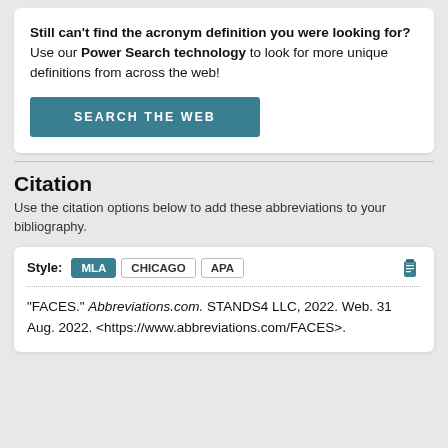Still can't find the acronym definition you were looking for? Use our Power Search technology to look for more unique definitions from across the web!
[Figure (other): SEARCH THE WEB teal button]
Citation
Use the citation options below to add these abbreviations to your bibliography.
Style: MLA CHICAGO APA
"FACES." Abbreviations.com. STANDS4 LLC, 2022. Web. 31 Aug. 2022. <https://www.abbreviations.com/FACES>.